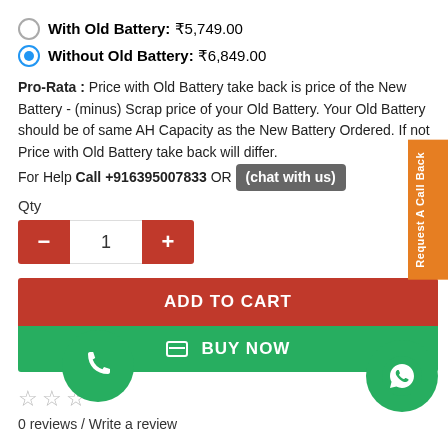With Old Battery: ₹5,749.00
Without Old Battery: ₹6,849.00
Pro-Rata : Price with Old Battery take back is price of the New Battery - (minus) Scrap price of your Old Battery. Your Old Battery should be of same AH Capacity as the New Battery Ordered. If not Price with Old Battery take back will differ.
For Help Call +916395007833 OR (chat with us)
Qty
ADD TO CART
BUY NOW
0 reviews / Write a review